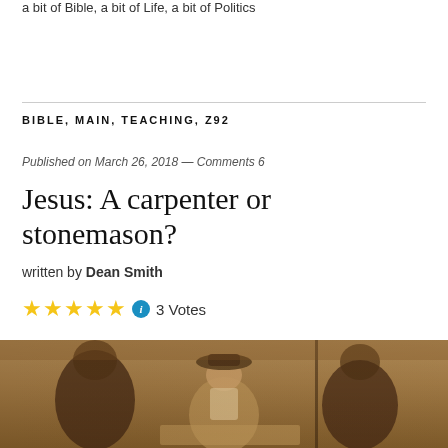a bit of Bible, a bit of Life, a bit of Politics
BIBLE, MAIN, TEACHING, Z92
Published on March 26, 2018 — Comments 6
Jesus: A carpenter or stonemason?
written by Dean Smith
3 Votes
[Figure (photo): Sepia-toned historical photograph of several men working outdoors, one wearing a hat, appearing to be engaged in manual labor or craftsmanship]